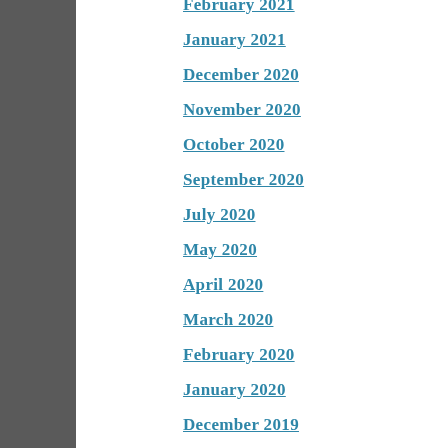February 2021
January 2021
December 2020
November 2020
October 2020
September 2020
July 2020
May 2020
April 2020
March 2020
February 2020
January 2020
December 2019
November 2019
October 2019
August 2019
July 2019